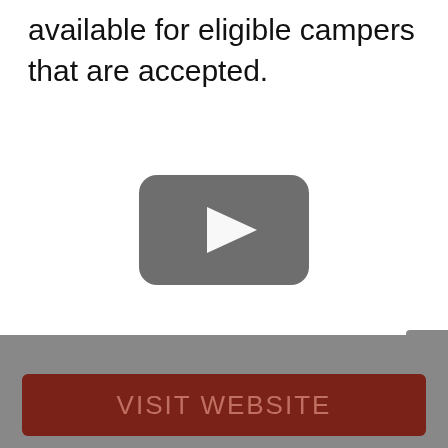available for eligible campers that are accepted.
[Figure (other): YouTube-style video player placeholder with dark rounded rectangle play button icon on white background]
[Figure (other): Close button 'X' in gray rounded rectangle at right edge]
VISIT WEBSITE